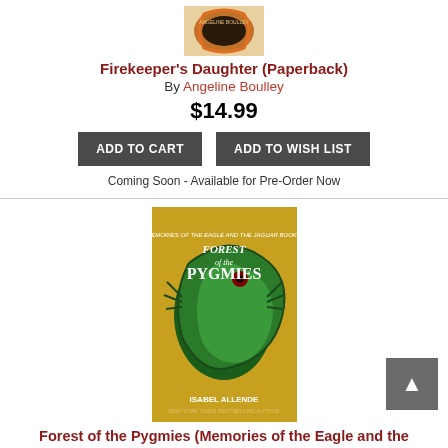[Figure (illustration): Partial view of Firekeeper's Daughter book cover with colorful circular design]
Firekeeper's Daughter (Paperback)
By Angeline Boulley
$14.99
ADD TO CART
ADD TO WISH LIST
Coming Soon - Available for Pre-Order Now
[Figure (illustration): Forest of the Pygmies book cover with golden background and green dragon/serpent creature]
Forest of the Pygmies (Memories of the Eagle and the Jaguar #3) (Paperback)
By Isabel Allende, Margaret Sayers Peden (Translated by)
$10.99
ADD TO CART
ADD TO WISH LIST
Available via Warehouse (7-10 Days)